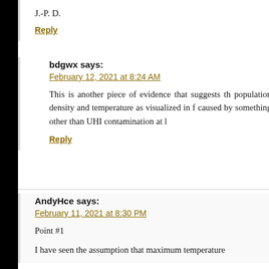J.-P. D.
Reply
bdgwx says:
February 12, 2021 at 8:24 AM
This is another piece of evidence that suggests th... population density and temperature as visualized in f... caused by something other than UHI contamination at l...
Reply
AndyHce says:
February 11, 2021 at 8:30 PM
Point #1
I have seen the assumption that maximum temperature...